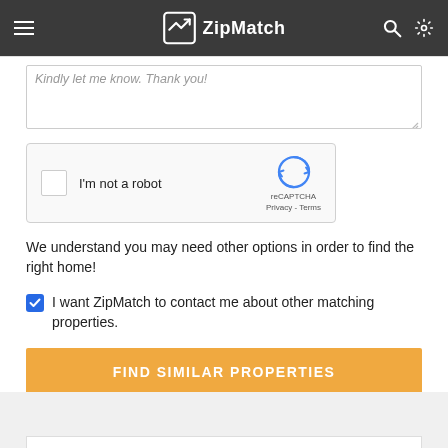ZipMatch
[Figure (screenshot): Textarea input box with placeholder text 'Kindly let me know. Thank you!' and a resize handle at bottom-right]
[Figure (screenshot): reCAPTCHA widget with checkbox labeled 'I'm not a robot' and reCAPTCHA logo with Privacy and Terms links]
We understand you may need other options in order to find the right home!
I want ZipMatch to contact me about other matching properties.
FIND SIMILAR PROPERTIES
Report Inaccurate Data